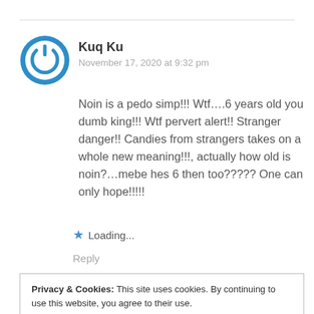Kuq Ku
November 17, 2020 at 9:32 pm
Noin is a pedo simp!!! Wtf….6 years old you dumb king!!! Wtf pervert alert!! Stranger danger!! Candies from strangers takes on a whole new meaning!!!, actually how old is noin?…mebe hes 6 then too????? One can only hope!!!!!
Loading...
Reply
Privacy & Cookies: This site uses cookies. By continuing to use this website, you agree to their use.
To find out more, including how to control cookies, see here: Cookie Policy
Close and accept
different culture and background. Lol i think most of